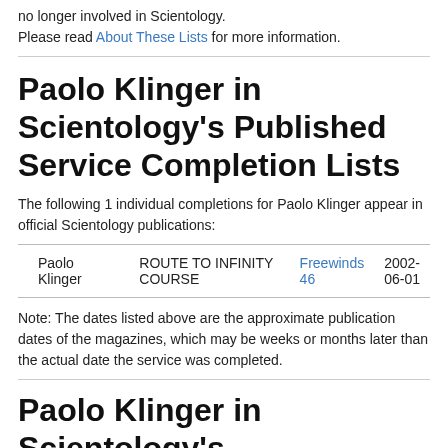no longer involved in Scientology.
Please read About These Lists for more information.
Paolo Klinger in Scientology's Published Service Completion Lists
The following 1 individual completions for Paolo Klinger appear in official Scientology publications:
| Paolo Klinger | ROUTE TO INFINITY COURSE | Freewinds 46 | 2002-06-01 |
Note: The dates listed above are the approximate publication dates of the magazines, which may be weeks or months later than the actual date the service was completed.
Paolo Klinger in Scientology's